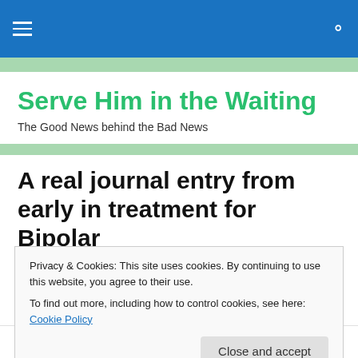Navigation bar with hamburger menu and search icon
Serve Him in the Waiting
The Good News behind the Bad News
A real journal entry from early in treatment for Bipolar
7-10-01
Privacy & Cookies: This site uses cookies. By continuing to use this website, you agree to their use. To find out more, including how to control cookies, see here: Cookie Policy